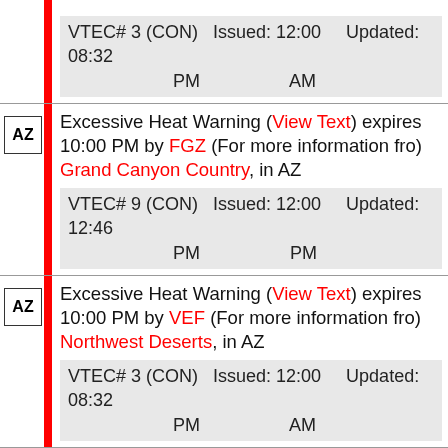VTEC# 3 (CON) Issued: 12:00 PM    Updated: 08:32 AM
AZ | Excessive Heat Warning (View Text) expires 10:00 PM by FGZ (For more information fro) Grand Canyon Country, in AZ
VTEC# 9 (CON) Issued: 12:00 PM    Updated: 12:46 PM
AZ | Excessive Heat Warning (View Text) expires 10:00 PM by VEF (For more information fro) Northwest Deserts, in AZ
VTEC# 3 (CON) Issued: 12:00 PM    Updated: 08:32 AM
LE | Small Craft Advisory (View Text) expires 04:00 AM by BUF (Hitchcock) Ripley to Dunkirk NY, Dunkirk to Buffalo NY, in LE